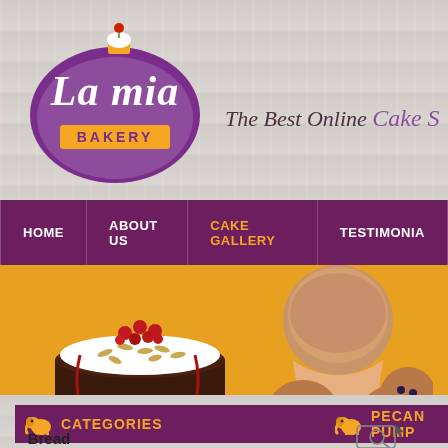[Figure (logo): La mia Bakery logo - purple circular design with cupcake on top, white text 'La mia' in script and 'BAKERY' in block letters]
The Best Online Cake S
[Figure (screenshot): Navigation bar with purple background, menu items: HOME, ABOUT US, CAKE GALLERY (highlighted in gold), TESTIMONIA]
[Figure (photo): Hero banner with golden/yellow background showing a chocolate cake topped with whipped cream, seeds, and red cherries on the left, and muffins/pastries on the right]
CATEGORIES
PECAN PUMP
Bread